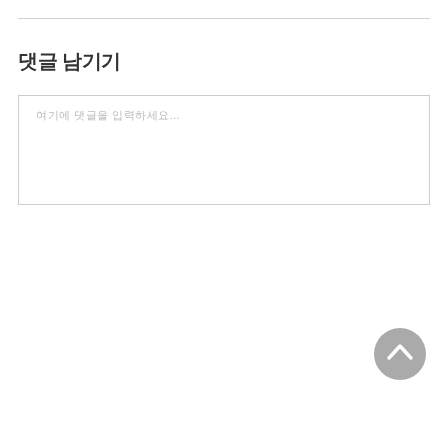댓글 남기기
여기에 댓글을 입력하세요...
[Figure (illustration): A circular grey button with an upward-pointing chevron/arrow icon for scrolling to the top of the page, positioned in the bottom-right corner.]